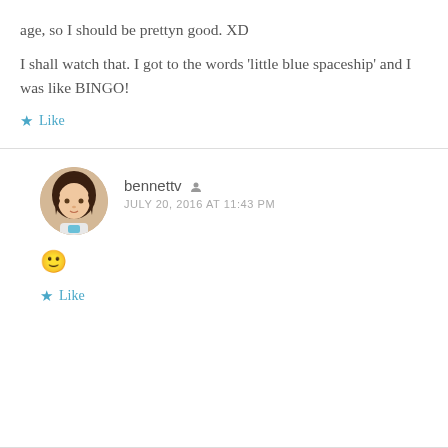age, so I should be prettyn good. XD
I shall watch that. I got to the words ‘little blue spaceship’ and I was like BINGO!
★ Like
bennettv ▪
JULY 20, 2016 AT 11:43 PM
🙂
★ Like